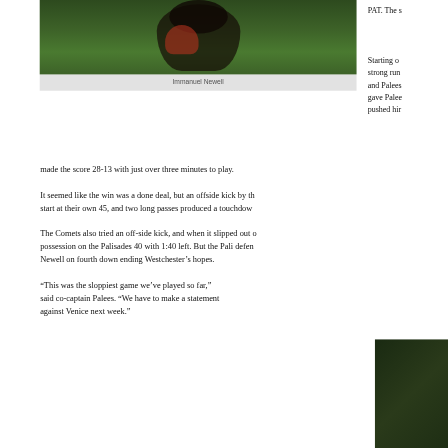[Figure (photo): Football player crouching on field holding helmet, wearing dark uniform]
Immanuel Newell
PAT. The s
Starting o strong run and Palees gave Palee pushed him made the score 28-13 with just over three minutes to play.
It seemed like the win was a done deal, but an offside kick by th start at their own 45, and two long passes produced a touchdow
The Comets also tried an off-side kick, and when it slipped out o possession on the Palisades 40 with 1:40 left. But the Pali defen Newell on fourth down ending Westchester’s hopes.
“This was the sloppiest game we’ve played so far,” said co-captain Palees. “We have to make a statement against Venice next week.”
[Figure (photo): Second football photo, partially visible at bottom right]